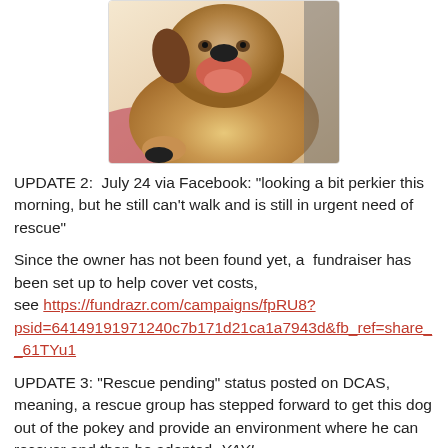[Figure (photo): Photo of a dog (golden/yellow colored) with mouth open showing tongue, appearing to be smiling or panting]
UPDATE 2:  July 24 via Facebook: "looking a bit perkier this morning, but he still can't walk and is still in urgent need of rescue"
Since the owner has not been found yet, a  fundraiser has been set up to help cover vet costs, see https://fundrazr.com/campaigns/fpRU8?psid=64149191971240c7b171d21ca1a7943d&fb_ref=share_61TYu1
UPDATE 3: "Rescue pending" status posted on DCAS, meaning, a rescue group has stepped forward to get this dog out of the pokey and provide an environment where he can recover and then be adopted. YAY!